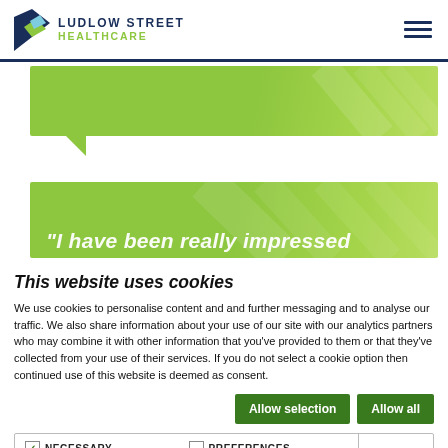[Figure (logo): Ludlow Street Healthcare logo with green swoosh icon and blue/green text]
[Figure (illustration): Green speech bubble banner at top of page]
[Figure (illustration): Green banner with partial quote text: 'I have been really impressed']
This website uses cookies
We use cookies to personalise content and and further messaging and to analyse our traffic. We also share information about your use of our site with our analytics partners who may combine it with other information that you've provided to them or that they've collected from your use of their services. If you do not select a cookie option then continued use of this website is deemed as consent.
Allow selection | Allow all
NECESSARY | PREFERENCES | STATISTICS | MARKETING | Show details